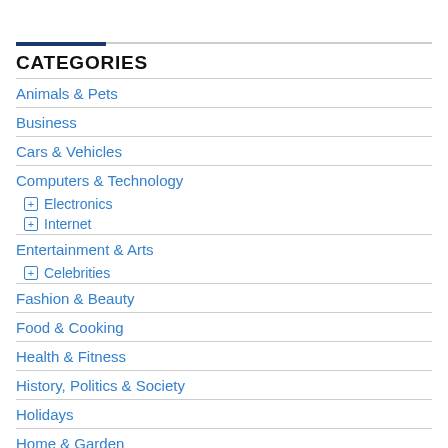CATEGORIES
Animals & Pets
Business
Cars & Vehicles
Computers & Technology
⊞ Electronics
⊞ Internet
Entertainment & Arts
⊞ Celebrities
Fashion & Beauty
Food & Cooking
Health & Fitness
History, Politics & Society
Holidays
Home & Garden
Jobs & Education
Language & Reference